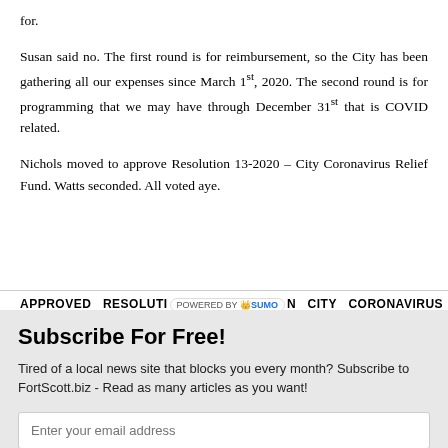for.
Susan said no. The first round is for reimbursement, so the City has been gathering all our expenses since March 1st, 2020. The second round is for programming that we may have through December 31st that is COVID related.
Nichols moved to approve Resolution 13-2020 – City Coronavirus Relief Fund. Watts seconded. All voted aye.
APPROVED   RESOLUTION   [POWERED BY SUMO]   CITY   CORONAVIRUS
Subscribe For Free!
Tired of a local news site that blocks you every month? Subscribe to FortScott.biz - Read as many articles as you want!
Enter your email address
SUBSCRIBE NOW